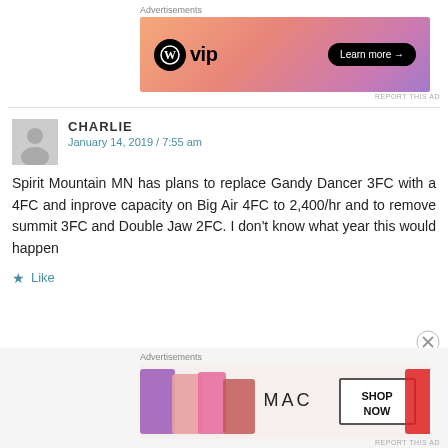[Figure (screenshot): WordPress VIP advertisement banner with orange/pink gradient background, WP logo, and 'Learn more' button]
CHARLIE
January 14, 2019 / 7:55 am
Spirit Mountain MN has plans to replace Gandy Dancer 3FC with a 4FC and inprove capacity on Big Air 4FC to 2,400/hr and to remove summit 3FC and Double Jaw 2FC. I don't know what year this would happen
Like
[Figure (screenshot): MAC cosmetics advertisement banner showing lipsticks and SHOP NOW button]